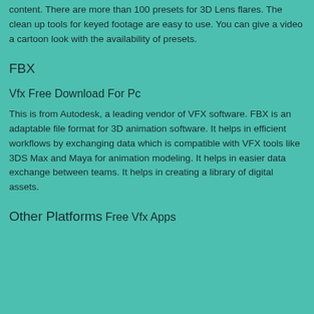content. There are more than 100 presets for 3D Lens flares. The clean up tools for keyed footage are easy to use. You can give a video a cartoon look with the availability of presets.
FBX
Vfx Free Download For Pc
This is from Autodesk, a leading vendor of VFX software. FBX is an adaptable file format for 3D animation software. It helps in efficient workflows by exchanging data which is compatible with VFX tools like 3DS Max and Maya for animation modeling. It helps in easier data exchange between teams. It helps in creating a library of digital assets.
Other Platforms
Free Vfx Apps